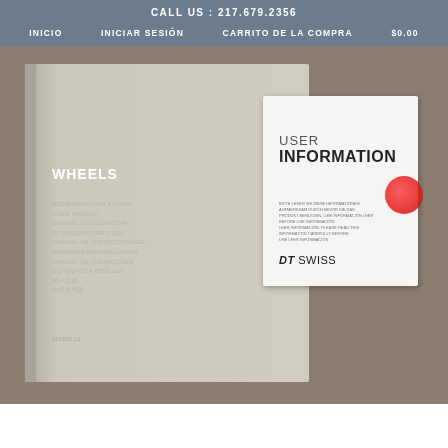CALL US : 217.679.2356
INICIO   INICIAR SESIÓN   CARRITO DE LA COMPRA   $0.00
[Figure (photo): Photo of two DT Swiss Wheels manuals on a brown surface. Left: large beige/gray booklet titled WHEELS with multilingual user manual text. Right: small white booklet titled USER INFORMATION with DT SWISS branding and a red circular sticker.]